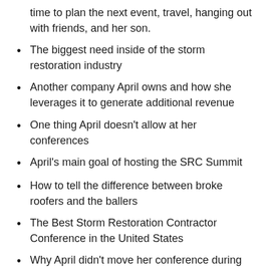time to plan the next event, travel, hanging out with friends, and her son.
The biggest need inside of the storm restoration industry
Another company April owns and how she leverages it to generate additional revenue
One thing April doesn’t allow at her conferences
April’s main goal of hosting the SRC Summit
How to tell the difference between broke roofers and the ballers
The Best Storm Restoration Contractor Conference in the United States
Why April didn’t move her conference during Covid
How you can plug into the most impactful storm restoration conference in the United